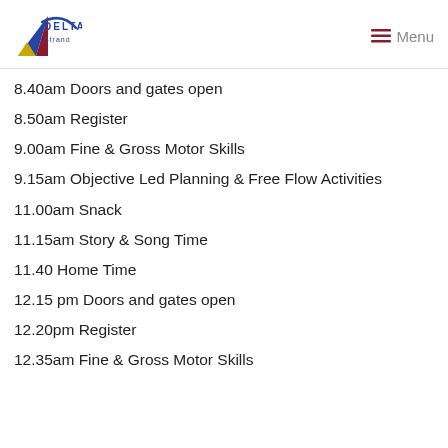[Figure (logo): Delta Strand school logo with geometric triangle shape in blue, gold, and maroon, with a blue swoosh and the text DELTA above Strand]
8.40am Doors and gates open
8.50am Register
9.00am Fine & Gross Motor Skills
9.15am Objective Led Planning & Free Flow Activities
11.00am Snack
11.15am Story & Song Time
11.40 Home Time
12.15 pm Doors and gates open
12.20pm Register
12.35am Fine & Gross Motor Skills